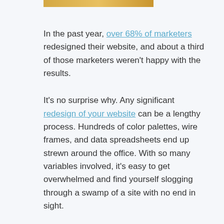[Figure (photo): Partial image strip visible at the top of the page, showing a warm golden/orange tone]
In the past year, over 68% of marketers redesigned their website, and about a third of those marketers weren't happy with the results.
It's no surprise why. Any significant redesign of your website can be a lengthy process. Hundreds of color palettes, wire frames, and data spreadsheets end up strewn around the office. With so many variables involved, it's easy to get overwhelmed and find yourself slogging through a swamp of a site with no end in sight.
We've put together a list of the top mistakes that can happen when redesigning a site. Next time